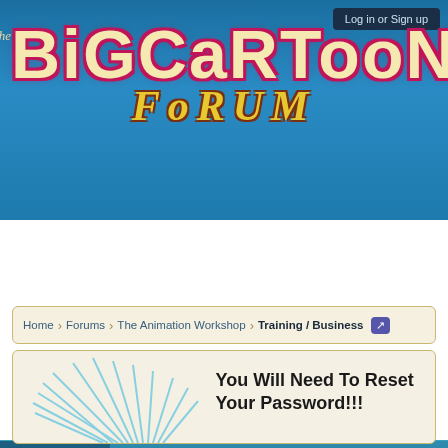[Figure (screenshot): Big Cartoon Forum website header with blue gradient background and colorful logo text]
Log in or Sign up
The Big Cartoon Forum
Forums | Resources | Members
Search Forums   Recent Posts
Home > Forums > The Animation Workshop > Training / Business
You Will Need To Reset Your Password!!!
We just moved hosts on this system, and this has caused a few updates. One is the way we encode and store the encoded